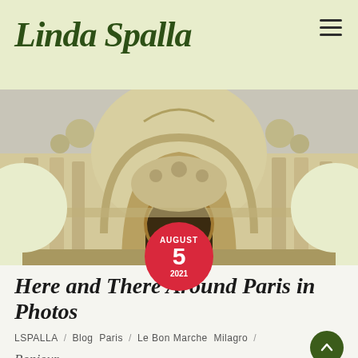Linda Spalla
[Figure (photo): Ornate classical French building facade with arched entrance, sculptural reliefs and columns, resembling a Parisian monument such as the Petit Palais. A red circular date badge overlays the bottom center showing AUGUST 5 2021.]
Here and There Around Paris in Photos
LSPALLA / Blog Paris / Le Bon Marche Milagro /
Bonjour,